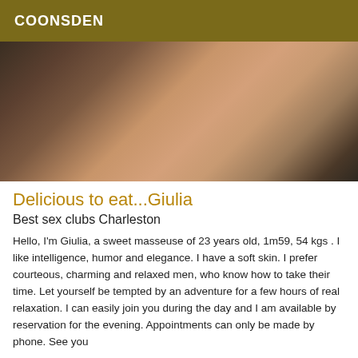COONSDEN
[Figure (photo): Close-up photo of a person resting on what appears to be a dark surface, showing skin and partial body]
Delicious to eat...Giulia
Best sex clubs Charleston
Hello, I'm Giulia, a sweet masseuse of 23 years old, 1m59, 54 kgs . I like intelligence, humor and elegance. I have a soft skin. I prefer courteous, charming and relaxed men, who know how to take their time. Let yourself be tempted by an adventure for a few hours of real relaxation. I can easily join you during the day and I am available by reservation for the evening. Appointments can only be made by phone. See you